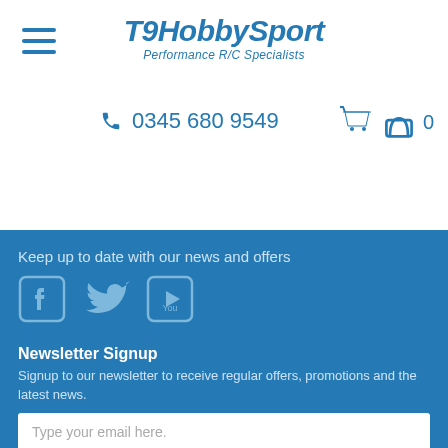T9HobbySport - Performance R/C Specialists
0345 680 9549
Keep up to date with our news and offers
[Figure (other): Social media icons: Facebook, Twitter, YouTube]
Newsletter Signup
Signup to our newsletter to receive regular offers, promotions and the latest news.
Type your email here.
Subscribe